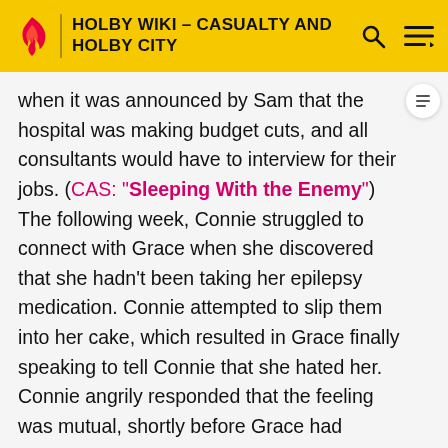HOLBY WIKI – CASUALTY AND HOLBY CITY
when it was announced by Sam that the hospital was making budget cuts, and all consultants would have to interview for their jobs. (CAS: "Sleeping With the Enemy") The following week, Connie struggled to connect with Grace when she discovered that she hadn't been taking her epilepsy medication. Connie attempted to slip them into her cake, which resulted in Grace finally speaking to tell Connie that she hated her. Connie angrily responded that the feeling was mutual, shortly before Grace had another seizure. Looking for someone to care for, Connie turned her attention to Grace's friend Hugo who had also been admitted, and offered him a place to stay with her. (CAS: "Child of Mine")
Later in April, there w...